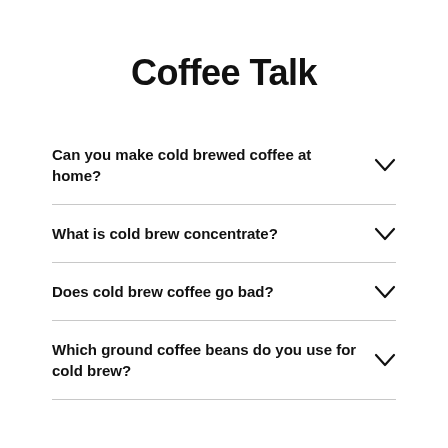Coffee Talk
Can you make cold brewed coffee at home?
What is cold brew concentrate?
Does cold brew coffee go bad?
Which ground coffee beans do you use for cold brew?